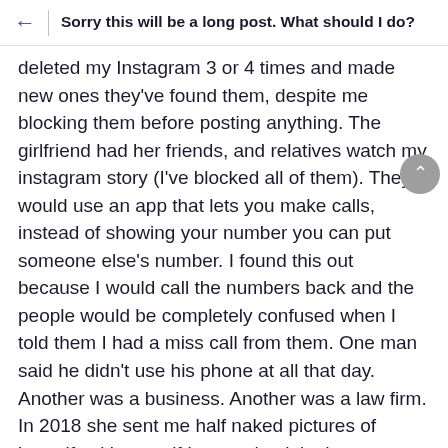Sorry this will be a long post. What should I do?
deleted my Instagram 3 or 4 times and made new ones they've found them, despite me blocking them before posting anything. The girlfriend had her friends, and relatives watch my instagram story (I've blocked all of them). They would use an app that lets you make calls, instead of showing your number you can put someone else's number. I found this out because I would call the numbers back and the people would be completely confused when I told them I had a miss call from them. One man said he didn't use his phone at all that day. Another was a business. Another was a law firm. In 2018 she sent me half naked pictures of herself asking me if I wanted to join them (DISGUSTING)! In 2019 I asked my ex why are they doing this. He'd lie and say he